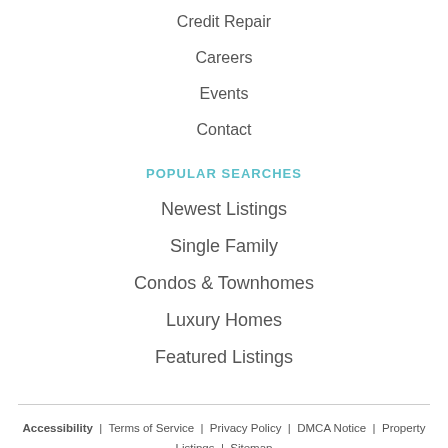Credit Repair
Careers
Events
Contact
POPULAR SEARCHES
Newest Listings
Single Family
Condos & Townhomes
Luxury Homes
Featured Listings
Accessibility  |  Terms of Service  |  Privacy Policy  |  DMCA Notice  |  Property Listings  |  Sitemap
© Copyright 2022 Tanesha Duckett. All Rights Reserved.